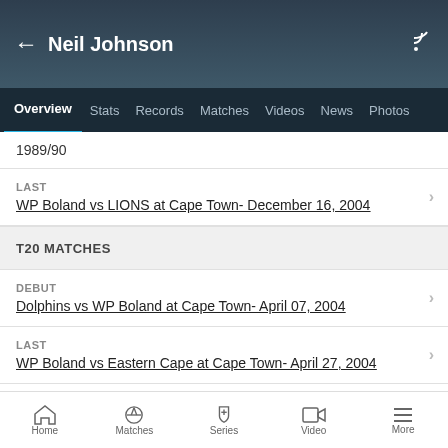Neil Johnson
Overview  Stats  Records  Matches  Videos  News  Photos
1989/90
LAST
WP Boland vs LIONS at Cape Town- December 16, 2004
T20 MATCHES
DEBUT
Dolphins vs WP Boland at Cape Town- April 07, 2004
LAST
WP Boland vs Eastern Cape at Cape Town- April 27, 2004
View more